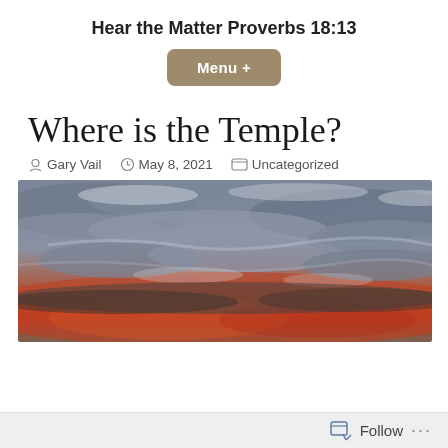Hear the Matter Proverbs 18:13
Menu +
Where is the Temple?
Gary Vail   May 8, 2021   Uncategorized
[Figure (photo): Dramatic sky photo with dark grey clouds and red-orange light breaking through at the horizon]
Follow ...